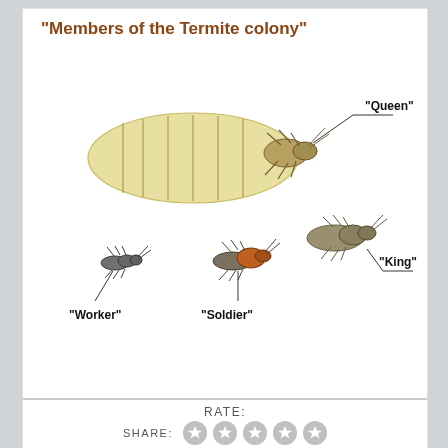"Members of the Termite colony"
[Figure (illustration): Illustration showing members of a termite colony: a large Queen termite (swollen abdomen, yellowish-white), a medium-sized King termite, a small Worker termite, and a medium Soldier termite with orange-brown head. Each is labeled with lines pointing to the respective insect.]
RATE:
SHARE: